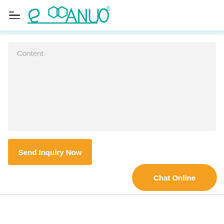SANUO (logo)
Content
Send Inquiry Now
Chat Online